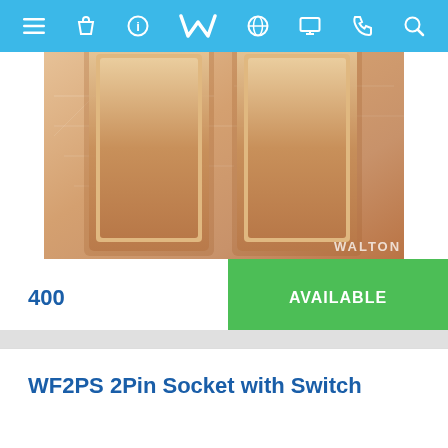Walton website navigation bar
[Figure (photo): Close-up product photo of a rose gold dual switch panel (Walton brand), showing two rocker switches on a brushed metallic gold plate with decorative line patterns. The Walton logo is visible in the lower right of the plate.]
400
AVAILABLE
WF2PS 2Pin Socket with Switch